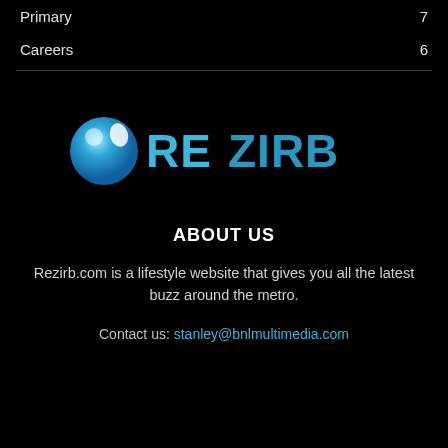Primary  7
Careers  6
[Figure (logo): REZIRB logo with blue circular droplet icon and cyan/blue text]
ABOUT US
Rezirb.com is a lifestyle website that gives you all the latest buzz around the metro.
Contact us: stanley@bnlmultimedia.com